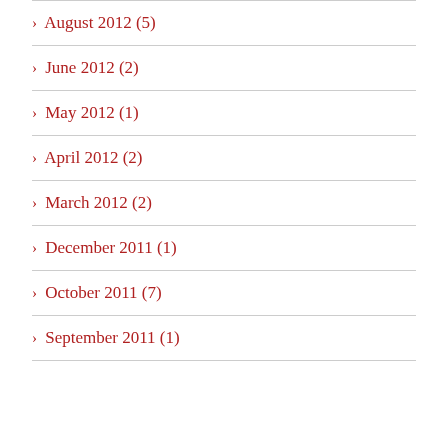> August 2012 (5)
> June 2012 (2)
> May 2012 (1)
> April 2012 (2)
> March 2012 (2)
> December 2011 (1)
> October 2011 (7)
> September 2011 (1)